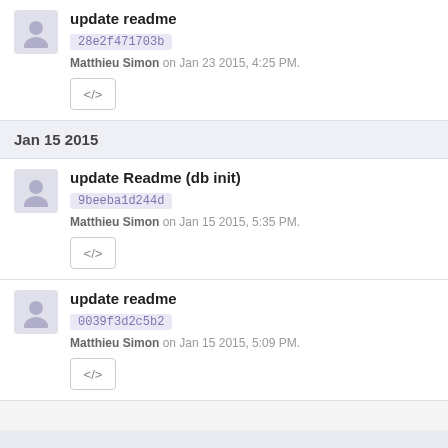update readme
28e2f471703b
Matthieu Simon on Jan 23 2015, 4:25 PM.
Jan 15 2015
update Readme (db init)
9beeba1d244d
Matthieu Simon on Jan 15 2015, 5:35 PM.
update readme
0039f3d2c5b2
Matthieu Simon on Jan 15 2015, 5:09 PM.